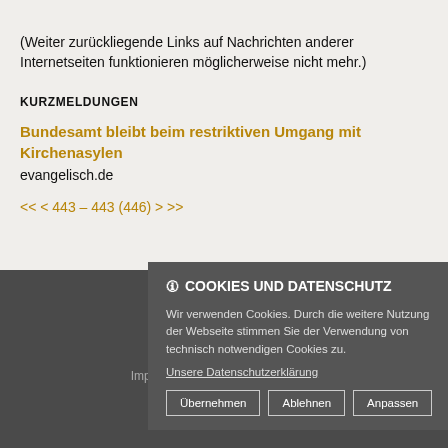(Weiter zurückliegende Links auf Nachrichten anderer Internetseiten funktionieren möglicherweise nicht mehr.)
KURZMELDUNGEN
Bundesamt bleibt beim restriktiven Umgang mit Kirchenasylen
evangelisch.de
<< < 443 – 443 (446) > >>
© 2018 Reformierter Bund
Nach oben → E-Mail
Impressum - Datenschutzerklärung
🛈 COOKIES UND DATENSCHUTZ
Wir verwenden Cookies. Durch die weitere Nutzung der Webseite stimmen Sie der Verwendung von technisch notwendigen Cookies zu.
Unsere Datenschutzerklärung
[Übernehmen] [Ablehnen] [Anpassen]